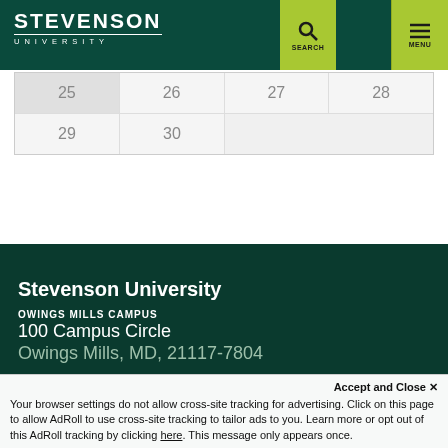STEVENSON UNIVERSITY
| 25 | 26 | 27 | 28 |
| 29 | 30 |  |  |  |
Stevenson University
OWINGS MILLS CAMPUS
100 Campus Circle
Owings Mills, MD, 21117-7804
Accept and Close ✕
Your browser settings do not allow cross-site tracking for advertising. Click on this page to allow AdRoll to use cross-site tracking to tailor ads to you. Learn more or opt out of this AdRoll tracking by clicking here. This message only appears once.